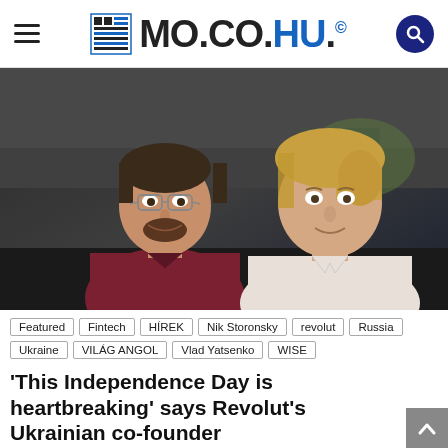MO.CO.HU.©
[Figure (photo): Two men posing together indoors; the man on the left wears a dark red polo shirt and glasses, the man on the right has blond hair and wears a white shirt.]
Featured
Fintech
HÍREK
Nik Storonsky
revolut
Russia
Ukraine
VILÁG ANGOL
Vlad Yatsenko
WISE
'This Independence Day is heartbreaking' says Revolut's Ukrainian co-founder
The Ukrainian co-founder of Revolut has described this year's Ukrainian Independence Day – which marks Ukraine's